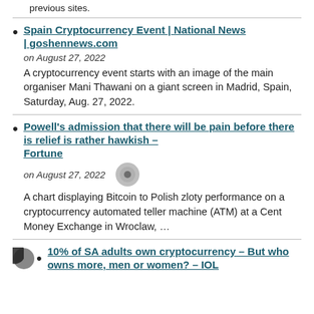previous sites.
Spain Cryptocurrency Event | National News | goshennews.com
on August 27, 2022
A cryptocurrency event starts with an image of the main organiser Mani Thawani on a giant screen in Madrid, Spain, Saturday, Aug. 27, 2022.
Powell's admission that there will be pain before there is relief is rather hawkish – Fortune
on August 27, 2022
A chart displaying Bitcoin to Polish zloty performance on a cryptocurrency automated teller machine (ATM) at a Cent Money Exchange in Wroclaw, …
10% of SA adults own cryptocurrency – But who owns more, men or women? – IOL